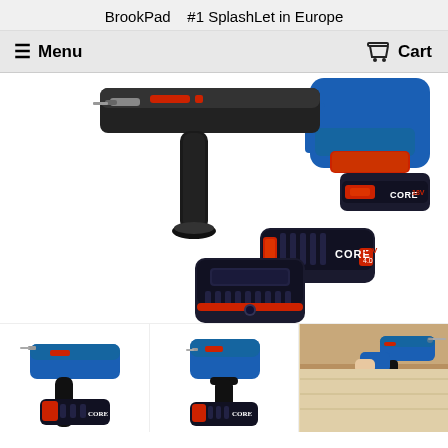BrookPad   #1 SplashLet in Europe
≡  Menu
🛒  Cart
[Figure (photo): Bosch cordless rotary hammer drill with two CORE18V batteries and a battery charger on white background]
[Figure (photo): Bosch cordless rotary hammer drill thumbnail 1]
[Figure (photo): Bosch cordless rotary hammer drill thumbnail 2]
[Figure (photo): Bosch cordless rotary hammer drill in use thumbnail 3]